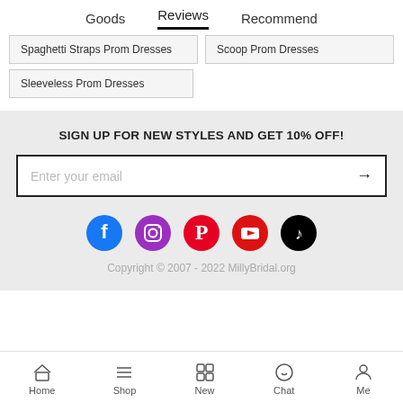Goods   Reviews   Recommend
Spaghetti Straps Prom Dresses
Scoop Prom Dresses
Sleeveless Prom Dresses
SIGN UP FOR NEW STYLES AND GET 10% OFF!
Enter your email
[Figure (infographic): Social media icons row: Facebook (blue), Instagram (purple), Pinterest (red), YouTube (red), TikTok (black)]
Copyright © 2007 - 2022 MillyBridal.org
Home  Shop  New  Chat  Me